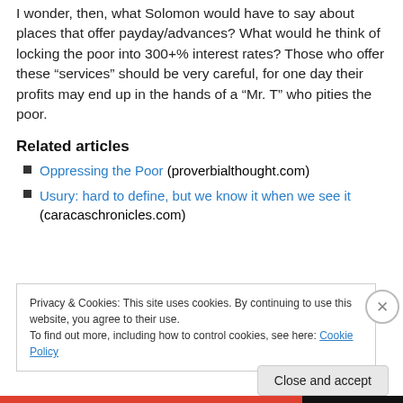I wonder, then, what Solomon would have to say about places that offer payday/advances? What would he think of locking the poor into 300+% interest rates? Those who offer these “services” should be very careful, for one day their profits may end up in the hands of a “Mr. T” who pities the poor.
Related articles
Oppressing the Poor (proverbialthought.com)
Usury: hard to define, but we know it when we see it (caracaschronicles.com)
Privacy & Cookies: This site uses cookies. By continuing to use this website, you agree to their use.
To find out more, including how to control cookies, see here: Cookie Policy
Close and accept